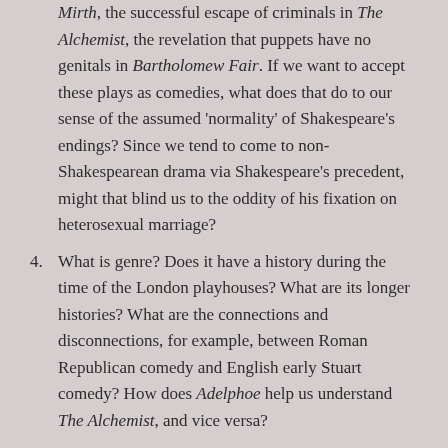Mirth, the successful escape of criminals in The Alchemist, the revelation that puppets have no genitals in Bartholomew Fair. If we want to accept these plays as comedies, what does that do to our sense of the assumed 'normality' of Shakespeare's endings? Since we tend to come to non-Shakespearean drama via Shakespeare's precedent, might that blind us to the oddity of his fixation on heterosexual marriage?
4. What is genre? Does it have a history during the time of the London playhouses? What are its longer histories? What are the connections and disconnections, for example, between Roman Republican comedy and English early Stuart comedy? How does Adelphoe help us understand The Alchemist, and vice versa?
5. To move from the diachronic to the synchronic,